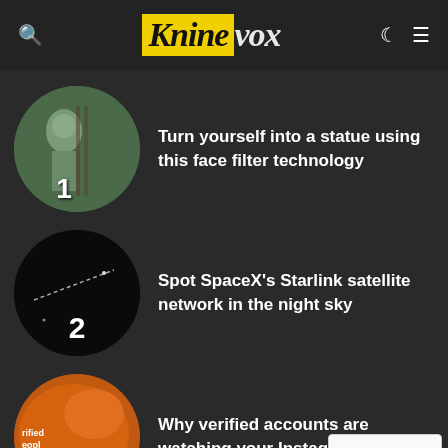Kninevox
Turn yourself into a statue using this face filter technology
Spot SpaceX's Starlink satellite network in the night sky
Why verified accounts are watching your Instagram stories?